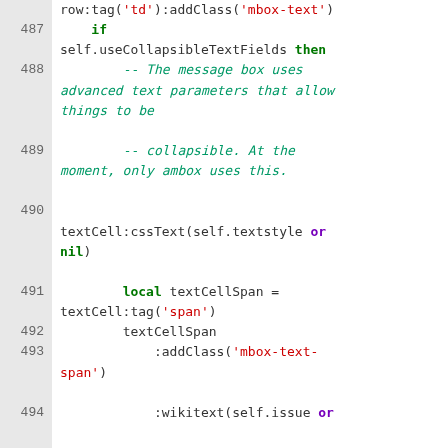[Figure (screenshot): Source code viewer showing lines 487-494 of Lua/wiki code with syntax highlighting. Line numbers on grey left column, code on white right area. Keywords in green/bold, string literals in red, comments in green italic, special keywords in purple/bold.]